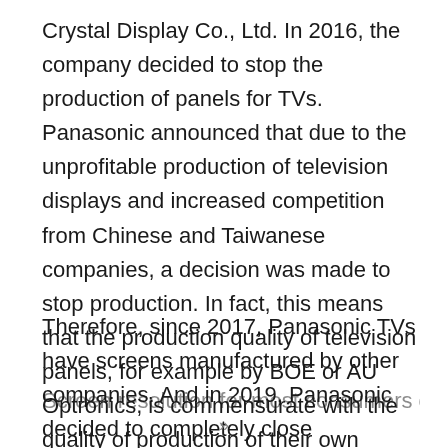Crystal Display Co., Ltd. In 2016, the company decided to stop the production of panels for TVs. Panasonic announced that due to the unprofitable production of television displays and increased competition from Chinese and Taiwanese companies, a decision was made to stop production. In fact, this means that the production quality of television panels, for example by BOE or AU Optronics, is commensurate with the quality of production of their own screens. At least visually.
Therefore, since 2017, Panasonic TVs have screens manufactured by other companies. And in 2019, Panasonic decided to completely close Panasonic Liquid Crystal Display Co., Ltd, this will happen in 2021.